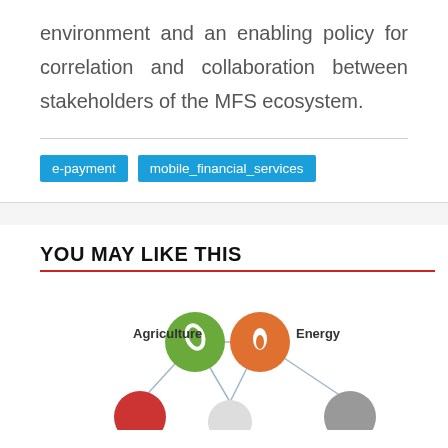environment and an enabling policy for correlation and collaboration between stakeholders of the MFS ecosystem.
e-payment
mobile_financial_services
YOU MAY LIKE THIS
[Figure (infographic): Network diagram showing interconnected nodes for Agriculture (green leaf icon), Energy (orange flame icon), and other partially visible nodes, connected by lines.]